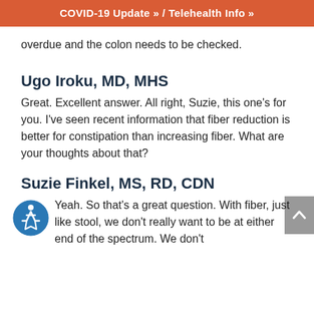COVID-19 Update » / Telehealth Info »
overdue and the colon needs to be checked.
Ugo Iroku, MD, MHS
Great. Excellent answer. All right, Suzie, this one's for you. I've seen recent information that fiber reduction is better for constipation than increasing fiber. What are your thoughts about that?
Suzie Finkel, MS, RD, CDN
Yeah. So that's a great question. With fiber, just like stool, we don't really want to be at either end of the spectrum. We don't